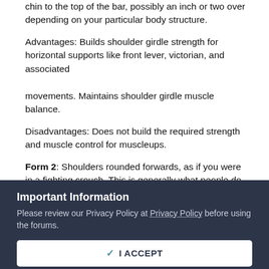chin to the top of the bar, possibly an inch or two over depending on your particular body structure.
Advantages: Builds shoulder girdle strength for horizontal supports like front lever, victorian, and associated movements. Maintains shoulder girdle muscle balance.
Disadvantages: Does not build the required strength and muscle control for muscleups.
Form 2: Shoulders rounded forwards, as if you were in a fighting crouch. This is generally what people do when they get tired, because you have different muscles coming into play. You start at a dead hang, and as you pull yourself up your shoulders will round forward instead of squeezing
Important Information
Please review our Privacy Policy at Privacy Policy before using the forums.
[I ACCEPT button]